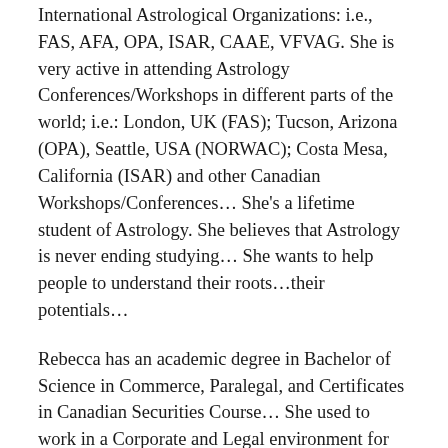International Astrological Organizations: i.e., FAS, AFA, OPA, ISAR, CAAE, VFVAG. She is very active in attending Astrology Conferences/Workshops in different parts of the world; i.e.: London, UK (FAS); Tucson, Arizona (OPA), Seattle, USA (NORWAC); Costa Mesa, California (ISAR) and other Canadian Workshops/Conferences… She's a lifetime student of Astrology. She believes that Astrology is never ending studying… She wants to help people to understand their roots…their potentials…
Rebecca has an academic degree in Bachelor of Science in Commerce, Paralegal, and Certificates in Canadian Securities Course… She used to work in a Corporate and Legal environment for 40 years until she decided to retire and just focus on her passion/her calling: Astrology!
Indeed, the configurations of the planets when she was